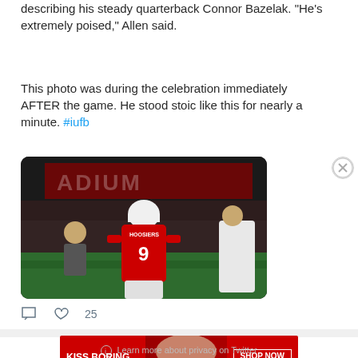describing his steady quarterback Connor Bazelak.  "He's extremely poised," Allen said.
This photo was during the celebration immediately AFTER the game.  He stood stoic like this for nearly a minute. #iufb
[Figure (photo): Football player wearing red jersey number 9 standing stoic on the field after a game celebration]
25 (likes)
[Figure (advertisement): Macy's advertisement: KISS BORING LIPS GOODBYE - SHOP NOW - macy's]
Learn more about privacy on Twitter